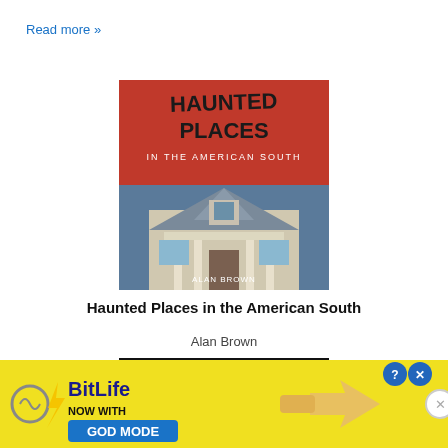Read more »
[Figure (photo): Book cover of 'Haunted Places in the American South' by Alan Brown. Red top half with hand-drawn style title text, bottom half shows a white Victorian house with columns.]
Haunted Places in the American South
Alan Brown
[Figure (photo): Book cover of 'Real Ghosts, Restless Spirits, and...' with black background and white text, showing a ghostly figure image on the left.]
[Figure (screenshot): BitLife advertisement banner with yellow background. Shows BitLife logo with lightning bolt, text 'NOW WITH GOD MODE' button in blue, and a pointing hand illustration. Has help and close buttons.]